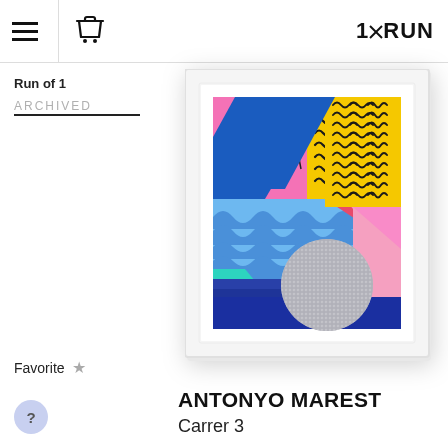1×RUN
Run of 1
ARCHIVED
[Figure (photo): Framed colorful abstract artwork titled 'Carrer 3' by Antonyo Marest, featuring geometric shapes, wavy patterns in blue, pink background, yellow squiggle pattern, red circle, teal, and a grey textured circle, displayed in a white frame.]
Favorite ★
ANTONYO MAREST
Carrer 3